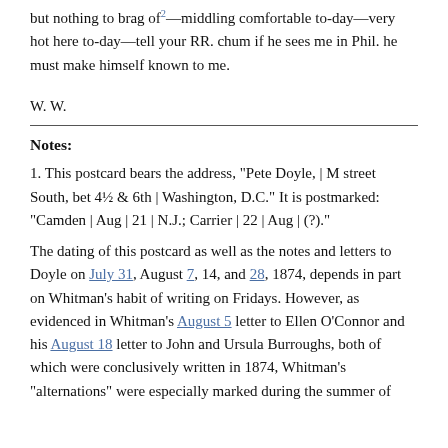but nothing to brag of²—middling comfortable to-day—very hot here to-day—tell your RR. chum if he sees me in Phil. he must make himself known to me.
W. W.
Notes:
1. This postcard bears the address, "Pete Doyle, | M street South, bet 4½ & 6th | Washington, D.C." It is postmarked: "Camden | Aug | 21 | N.J.; Carrier | 22 | Aug | (?)."
The dating of this postcard as well as the notes and letters to Doyle on July 31, August 7, 14, and 28, 1874, depends in part on Whitman's habit of writing on Fridays. However, as evidenced in Whitman's August 5 letter to Ellen O'Connor and his August 18 letter to John and Ursula Burroughs, both of which were conclusively written in 1874, Whitman's "alternations" were especially marked during the summer of